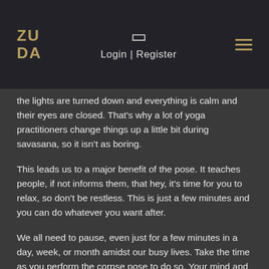ZUDA | Login | Register
the lights are turned down and everything is calm and their eyes are closed. That’s why a lot of yoga practitioners change things up a little bit during savasana, so it isn’t as boring.
This leads us to a major benefit of the pose. It teaches people, if not informs them, that hey, it’s time for you to relax, so don’t be restless. This is just a few minutes and you can do whatever you want after.
We all need to pause, even just for a few minutes in a day, week, or month amidst our busy lives. Take the time as you perform the corpse pose to do so. Your mind and body will thank you.